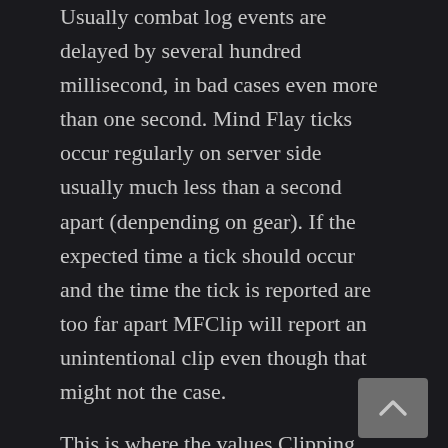Usually combat log events are delayed by several hundred millisecond, in bad cases even more than one second. Mind Flay ticks occur regularly on server side usually much less than a second apart (denpending on gear). If the expected time a tick should occur and the time the tick is reported are too far apart MFClip will report an unintentional clip even though that might not the case.
This is where the values Clipping warning [ms] and Wait for Combat Log [ms] come in.
Clipping warning [ms]: If you start a new action x ms (default is 300ms) before a tick should occur, and no tick actually does in time,